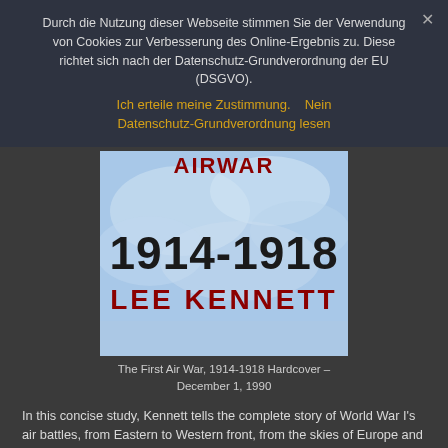Durch die Nutzung dieser Webseite stimmen Sie der Verwendung von Cookies zur Verbesserung des Online-Ergebnis zu. Diese richtet sich nach der Datenschutz-Grundverordnung der EU (DSGVO).
Ich erteile meine Zustimmung.    Nein
Datenschutz-Grundverordnung lesen
[Figure (photo): Book cover of 'The First Air War 1914-1918' by Lee Kennett. Shows bold text '1914-1918' in black and 'LEE KENNETT' in dark red, against a blue sky with cloud/map imagery. Partial title text at top in red.]
The First Air War, 1914-1918 Hardcover – December 1, 1990
In this concise study, Kennett tells the complete story of World War I's air battles, from Eastern to Western front, from the skies of Europe and its seas to those of the Middle East and Africa.